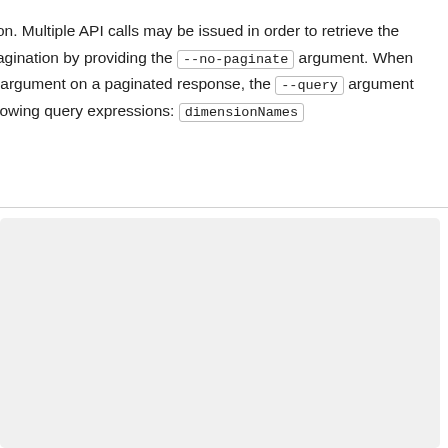on. Multiple API calls may be issued in order to retrieve the pagination by providing the --no-paginate argument. When argument on a paginated response, the --query argument lowing query expressions: dimensionNames
[Figure (screenshot): A light gray code/content block area below a horizontal divider line]